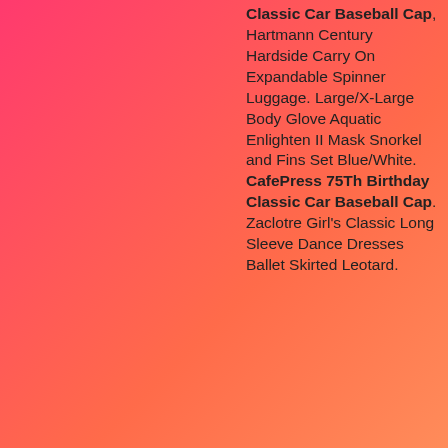Classic Car Baseball Cap, Hartmann Century Hardside Carry On Expandable Spinner Luggage. Large/X-Large Body Glove Aquatic Enlighten II Mask Snorkel and Fins Set Blue/White. CafePress 75Th Birthday Classic Car Baseball Cap. Zaclotre Girl's Classic Long Sleeve Dance Dresses Ballet Skirted Leotard.